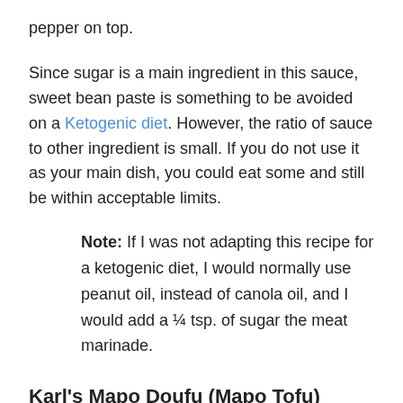pepper on top.
Since sugar is a main ingredient in this sauce, sweet bean paste is something to be avoided on a Ketogenic diet. However, the ratio of sauce to other ingredient is small. If you do not use it as your main dish, you could eat some and still be within acceptable limits.
Note: If I was not adapting this recipe for a ketogenic diet, I would normally use peanut oil, instead of canola oil, and I would add a ¼ tsp. of sugar the meat marinade.
Karl's Mapo Doufu (Mapo Tofu)
Ingredients
1 lb. tofu